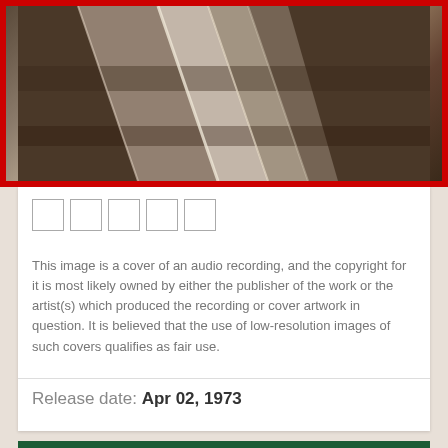[Figure (photo): Album cover image with red border, showing metallic/reflective surfaces at an angle]
This image is a cover of an audio recording, and the copyright for it is most likely owned by either the publisher of the work or the artist(s) which produced the recording or cover artwork in question. It is believed that the use of low-resolution images of such covers qualifies as fair use.
Release date: Apr 02, 1973
Timeline
Previous album  Nov 24, 1972 • "Those Were The Days" by Mary Hopkin released in the UK
Article  Apr 02, 1973 • John Lennon, George Harrison